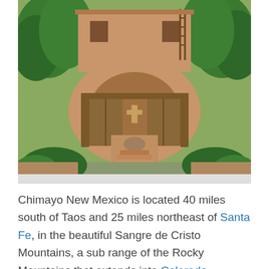[Figure (photo): Adobe-style building in Chimayo, New Mexico with a rounded arch gateway, wooden doors, a cross visible inside the courtyard, surrounded by lush green trees and bushes.]
Chimayo New Mexico is located 40 miles south of Taos and 25 miles northeast of Santa Fe, in the beautiful Sangre de Cristo Mountains, a sub range of the Rocky Mountains that extends into Colorado. Chimayo travel takes you along Highway 76, the "High Road to Taos," a scenic route passing through lovely old Spanish villages and the timeless landscapes immortalized in the paintings of Georgia